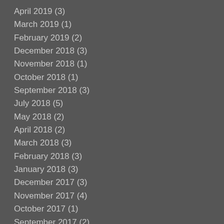April 2019 (3)
March 2019 (1)
February 2019 (2)
December 2018 (3)
November 2018 (1)
October 2018 (1)
September 2018 (3)
July 2018 (5)
May 2018 (2)
April 2018 (2)
March 2018 (3)
February 2018 (3)
January 2018 (3)
December 2017 (3)
November 2017 (4)
October 2017 (1)
September 2017 (2)
August 2017 (1)
July 2017 (1)
June 2017 (4)
April 2017 (8)